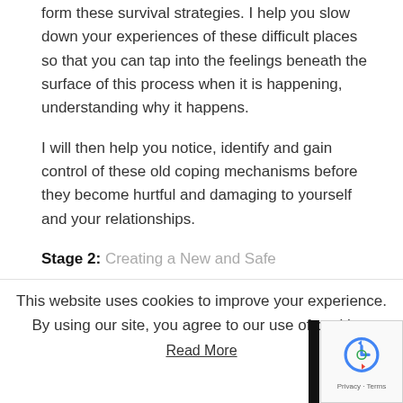form these survival strategies. I help you slow down your experiences of these difficult places so that you can tap into the feelings beneath the surface of this process when it is happening, understanding why it happens.
I will then help you notice, identify and gain control of these old coping mechanisms before they become hurtful and damaging to yourself and your relationships.
Stage 2: Creating a New and Safe
This website uses cookies to improve your experience. By using our site, you agree to our use of cookies.
Read More